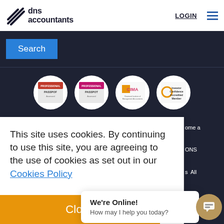[Figure (logo): dns accountants logo with diagonal lines icon]
LOGIN
Search
[Figure (illustration): Row of four circular white badge logos: Professional Passport, Professional Passport (variant), CIMA, and another accreditation badge]
This site uses cookies. By continuing to use this site, you are agreeing to the use of cookies as set out in our Cookies Policy
Close
We're Online! How may I help you today?